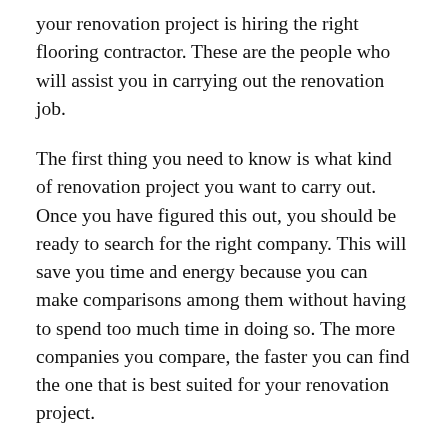your renovation project is hiring the right flooring contractor. These are the people who will assist you in carrying out the renovation job.
The first thing you need to know is what kind of renovation project you want to carry out. Once you have figured this out, you should be ready to search for the right company. This will save you time and energy because you can make comparisons among them without having to spend too much time in doing so. The more companies you compare, the faster you can find the one that is best suited for your renovation project.
Floor cleaning is a critical part of any renovation project. This is also considered to be one of the most important parts because it makes sure that your renovation project goes smoothly. You do not have to go through the hassle of hiring an individual that